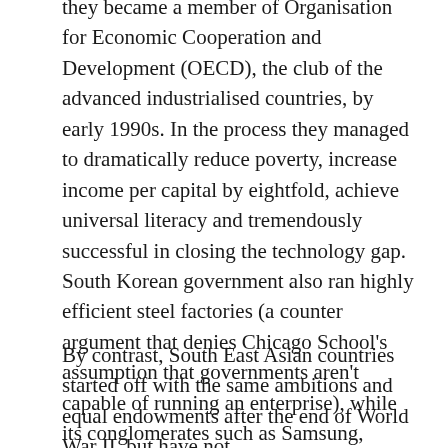they became a member of Organisation for Economic Cooperation and Development (OECD), the club of the advanced industrialised countries, by early 1990s. In the process they managed to dramatically reduce poverty, increase income per capital by eightfold, achieve universal literacy and tremendously successful in closing the technology gap. South Korean government also ran highly efficient steel factories (a counter argument that denies Chicago School's assumption that governments aren't capable of running an enterprise), while its conglomerates such as Samsung, Daewoo and Hyundai were equally successful in producing goods known all over the world.
By contrast, South East Asian countries started off with the same ambitions and equal endowments after the end of World War II, but have not followed the same policies, resulting, for the most th...